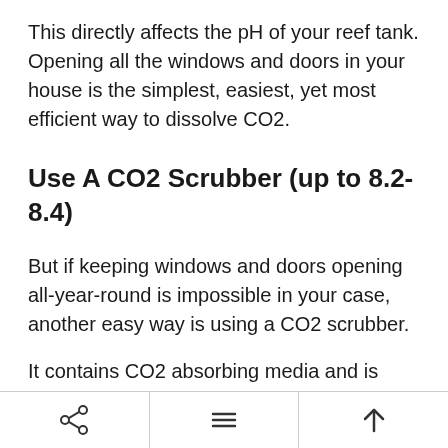This directly affects the pH of your reef tank. Opening all the windows and doors in your house is the simplest, easiest, yet most efficient way to dissolve CO2.
Use A CO2 Scrubber (up to 8.2-8.4)
But if keeping windows and doors opening all-year-round is impossible in your case, another easy way is using a CO2 scrubber.
It contains CO2 absorbing media and is designed to attach to the protein skimmer air intake. So, before the air enters the skimmer, it will remove a huge majority of CO2 gas.
Share | Menu | Up